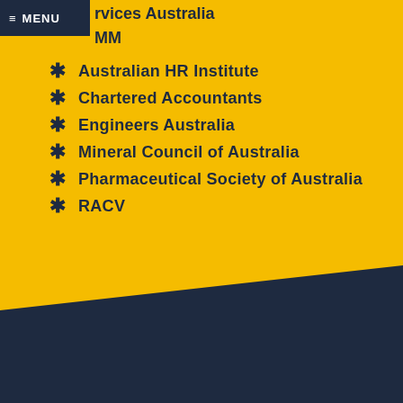≡ MENU
rvices Australia
MM
Australian HR Institute
Chartered Accountants
Engineers Australia
Mineral Council of Australia
Pharmaceutical Society of Australia
RACV